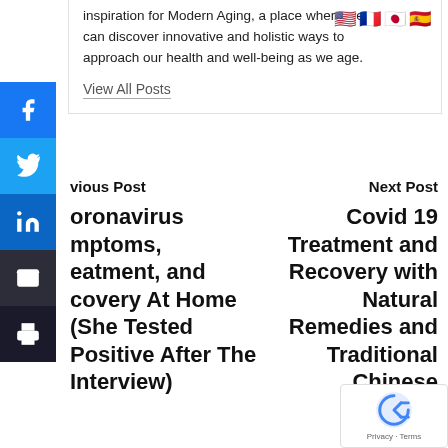inspiration for Modern Aging, a place where we can discover innovative and holistic ways to approach our health and well-being as we age.
View All Posts
[Figure (infographic): Social media share sidebar with Facebook, Twitter, LinkedIn, Email, and Print buttons]
Previous Post
Next Post
Coronavirus Symptoms, Treatment, and Recovery At Home (She Tested Positive After The Interview)
Covid 19 Treatment and Recovery with Natural Remedies and Traditional Chinese Medicine